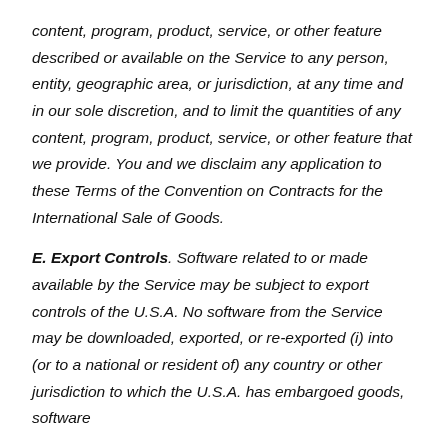content, program, product, service, or other feature described or available on the Service to any person, entity, geographic area, or jurisdiction, at any time and in our sole discretion, and to limit the quantities of any content, program, product, service, or other feature that we provide. You and we disclaim any application to these Terms of the Convention on Contracts for the International Sale of Goods.
E. Export Controls. Software related to or made available by the Service may be subject to export controls of the U.S.A. No software from the Service may be downloaded, exported, or re-exported (i) into (or to a national or resident of) any country or other jurisdiction to which the U.S.A. has embargoed goods, software